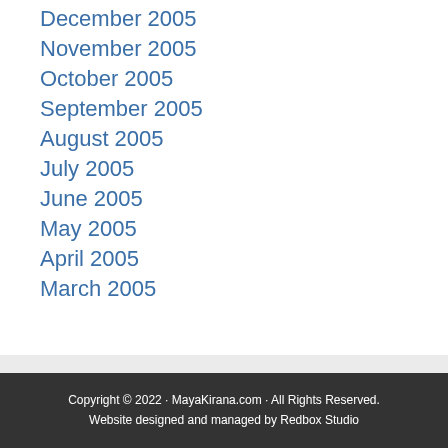December 2005
November 2005
October 2005
September 2005
August 2005
July 2005
June 2005
May 2005
April 2005
March 2005
Copyright © 2022 · MayaKirana.com · All Rights Reserved.
Website designed and managed by Redbox Studio